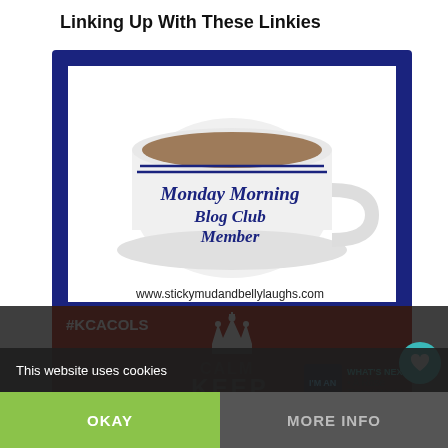Linking Up With These Linkies
[Figure (illustration): Tea cup badge with blue border showing 'Monday Morning Blog Club Member' text and www.stickymudandbellylaughs.com at the bottom]
[Figure (illustration): Red KCACOLS badge with crown and KEEP CALM text]
1
WHAT'S NEXT → • A Rose Tinted World
This website uses cookies
OKAY
MORE INFO